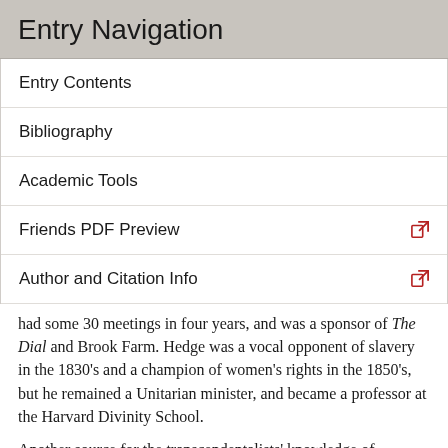Entry Navigation
Entry Contents
Bibliography
Academic Tools
Friends PDF Preview
Author and Citation Info
had some 30 meetings in four years, and was a sponsor of The Dial and Brook Farm. Hedge was a vocal opponent of slavery in the 1830's and a champion of women's rights in the 1850's, but he remained a Unitarian minister, and became a professor at the Harvard Divinity School.
Another source for the transcendentalists' knowledge of German philosophy was Madame de Staël (Anne-Louise-Germaine Necker) (1766–1817), whose De l'Allemagne (On Germany) was a favorite of the young Emerson. In a sweeping survey of European metaphysics and political philosophy, de Staël praises Locke's devotion to liberty,